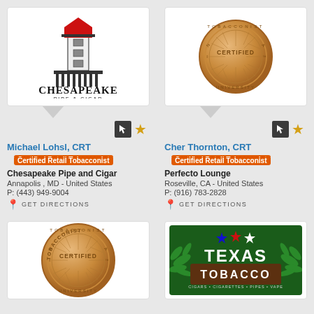[Figure (logo): Chesapeake Pipe and Cigar logo - lighthouse with red top and black text]
[Figure (logo): IPCPR Tobacconist University Certified coin/medallion in bronze/copper color]
Michael Lohsl, CRT
Certified Retail Tobacconist
Chesapeake Pipe and Cigar
Annapolis , MD - United States
P: (443) 949-9004
GET DIRECTIONS
Cher Thornton, CRT
Certified Retail Tobacconist
Perfecto Lounge
Roseville, CA - United States
P: (916) 783-2828
GET DIRECTIONS
[Figure (logo): IPCPR Tobacconist University Certified coin/medallion in bronze/copper color]
[Figure (logo): Texas Tobacco - Cigars, Cigarettes, Pipes, Vape logo with stars and decorative leaves]